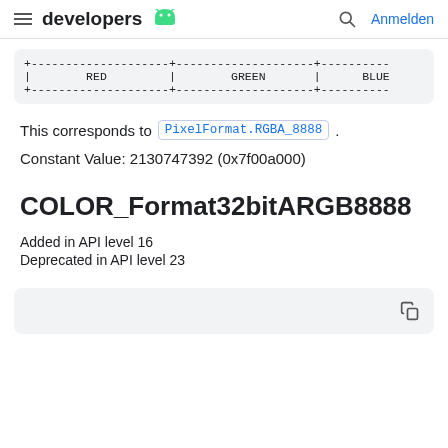developers  Anmelden
[Figure (screenshot): Code block showing a table with columns RED, GREEN, BLUE separated by dashed lines]
This corresponds to PixelFormat.RGBA_8888 .
Constant Value: 2130747392 (0x7f00a000)
COLOR_Format32bitARGB8888
Added in API level 16
Deprecated in API level 23